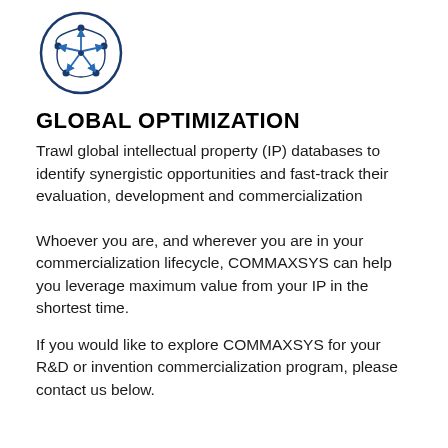[Figure (logo): Circular logo with a network/graph icon inside — nodes connected by arrows pointing outward in multiple directions, rendered in dark blue/black outline style]
GLOBAL OPTIMIZATION
Trawl global intellectual property (IP) databases to identify synergistic opportunities and fast-track their evaluation, development and commercialization
Whoever you are, and wherever you are in your commercialization lifecycle, COMMAXSYS can help you leverage maximum value from your IP in the shortest time.
If you would like to explore COMMAXSYS for your R&D or invention commercialization program, please contact us below.